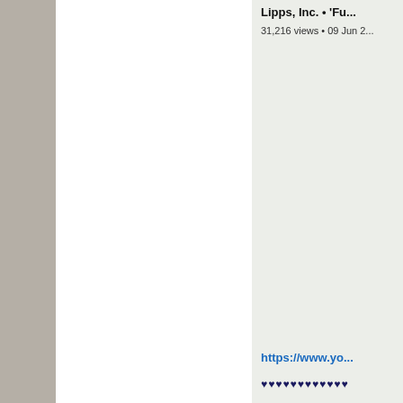Lipps, Inc. • 'Fu...
31,216 views • 09 Jun 2...
https://www.yo...
♥♥♥♥♥♥♥♥♥♥♥♥